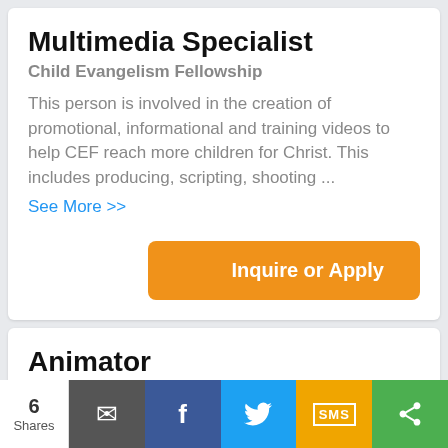Multimedia Specialist
Child Evangelism Fellowship
This person is involved in the creation of promotional, informational and training videos to help CEF reach more children for Christ. This includes producing, scripting, shooting ...
See More >>
Inquire or Apply
Animator
Child Evangelism Fellowship
This person creates animated videos to help
6 Shares